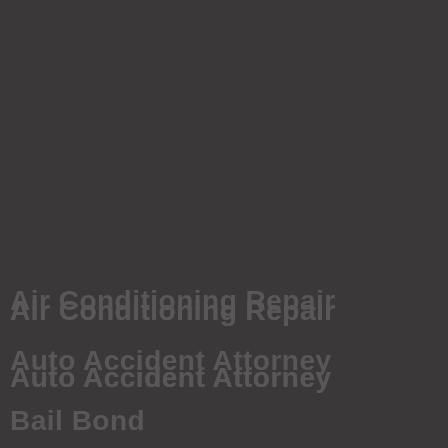Air Conditioning Repair
Auto Accident Attorney
Bail Bond
Kiteboarding Monterey
Estate Retail